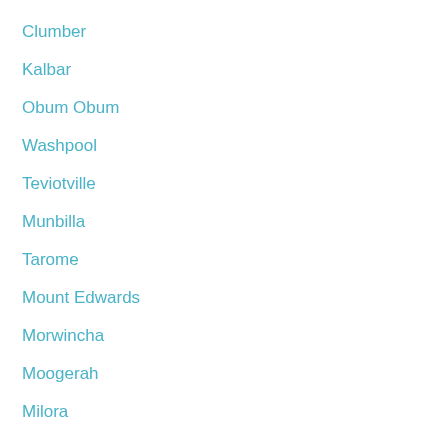Clumber
Kalbar
Obum Obum
Washpool
Teviotville
Munbilla
Tarome
Mount Edwards
Morwincha
Moogerah
Milora